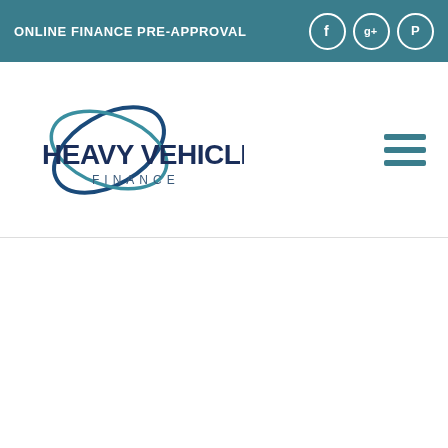ONLINE FINANCE PRE-APPROVAL
[Figure (logo): Heavy Vehicle Finance logo with swoosh graphic and company name in dark navy blue]
[Figure (other): Hamburger menu icon (three horizontal teal lines)]